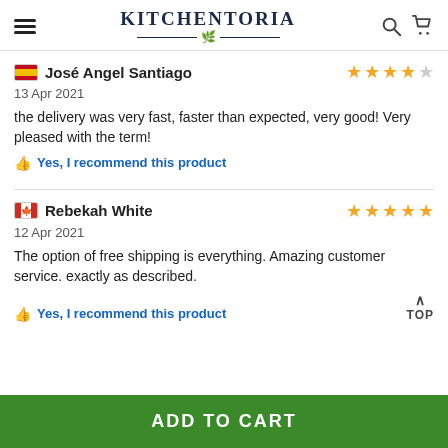KITCHENTORIA
José Angel Santiago – 4 stars – 13 Apr 2021 – the delivery was very fast, faster than expected, very good! Very pleased with the term! – Yes, I recommend this product
Rebekah White – 5 stars – 12 Apr 2021 – The option of free shipping is everything. Amazing customer service. exactly as described. – Yes, I recommend this product
ADD TO CART